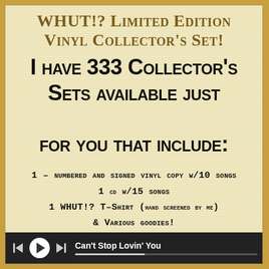WHUT!? Limited Edition Vinyl Collector's Set!
I have 333 Collector's Sets available just for you that include:
1 – numbered and signed vinyl copy w/10 songs
1 cd w/15 songs
1 WHUT!? T-Shirt (hand screened by me)
& Various goodies!
Can't Stop Lovin' You